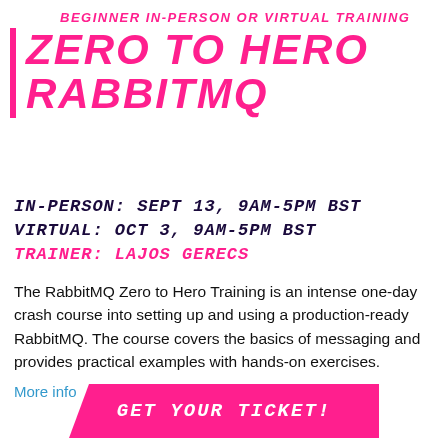BEGINNER IN-PERSON OR VIRTUAL TRAINING
ZERO TO HERO RABBITMQ
IN-PERSON: SEPT 13, 9AM-5PM BST
VIRTUAL: OCT 3, 9AM-5PM BST
TRAINER: LAJOS GERECS
The RabbitMQ Zero to Hero Training is an intense one-day crash course into setting up and using a production-ready RabbitMQ. The course covers the basics of messaging and provides practical examples with hands-on exercises.
More info
GET YOUR TICKET!